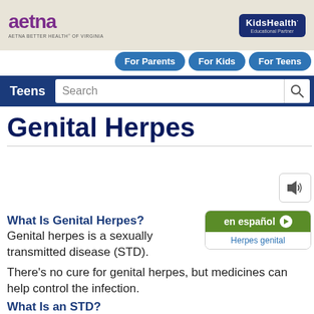aetna | AETNA BETTER HEALTH® OF VIRGINIA | KidsHealth Educational Partner
For Parents | For Kids | For Teens
Teens Search
Genital Herpes
What Is Genital Herpes?
Genital herpes is a sexually transmitted disease (STD).
en español | Herpes genital
There's no cure for genital herpes, but medicines can help control the infection.
What Is an STD?